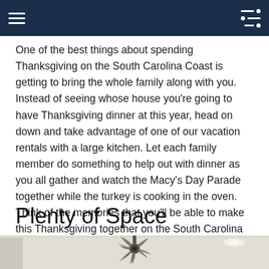One of the best things about spending Thanksgiving on the South Carolina Coast is getting to bring the whole family along with you. Instead of seeing whose house you're going to have Thanksgiving dinner at this year, head on down and take advantage of one of our vacation rentals with a large kitchen. Let each family member do something to help out with dinner as you all gather and watch the Macy's Day Parade together while the turkey is cooking in the oven. Think of the memories that you'll be able to make this Thanksgiving together on the South Carolina Coast.
Plenty of Space
[Figure (photo): Interior photo of a room ceiling with a large multi-blade ceiling fan (windmill style) and recessed lighting, light neutral walls and ceiling.]